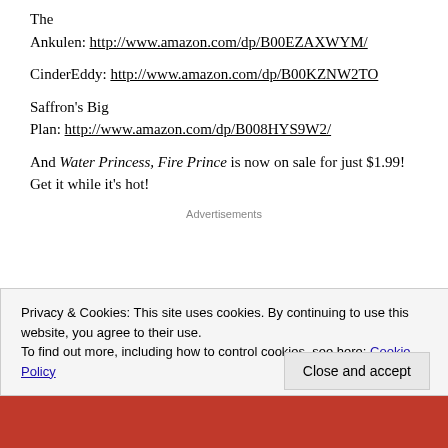The Ankulen: http://www.amazon.com/dp/B00EZAXWYM/
CinderEddy: http://www.amazon.com/dp/B00KZNW2TO
Saffron's Big Plan: http://www.amazon.com/dp/B008HYS9W2/
And Water Princess, Fire Prince is now on sale for just $1.99! Get it while it's hot!
Advertisements
Privacy & Cookies: This site uses cookies. By continuing to use this website, you agree to their use.
To find out more, including how to control cookies, see here: Cookie Policy
Close and accept